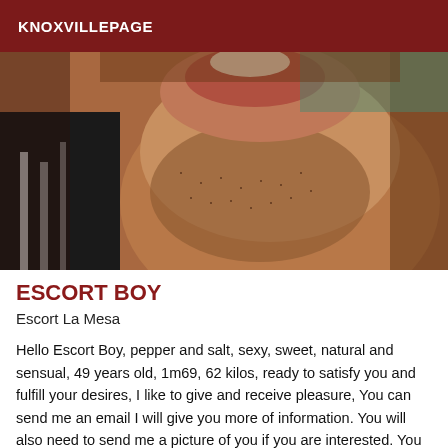KNOXVILLEPAGE
[Figure (photo): Close-up photo of a man's face showing stubble beard, partial smile, wearing a black and white striped garment]
ESCORT BOY
Escort La Mesa
Hello Escort Boy, pepper and salt, sexy, sweet, natural and sensual, 49 years old, 1m69, 62 kilos, ready to satisfy you and fulfill your desires, I like to give and receive pleasure, You can send me an email I will give you more of information. You will also need to send me a picture of you if you are interested. You can also contact